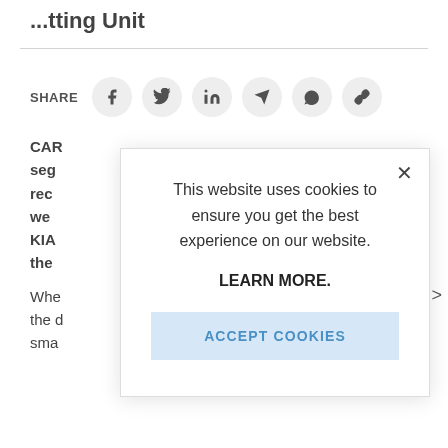... ting Unit
SHARE
CAR... seg... rec... we... KIA... the...
Whe... the d... sma...
[Figure (screenshot): Cookie consent modal dialog with text: 'This website uses cookies to ensure you get the best experience on our website. LEARN MORE. ACCEPT COOKIES button']